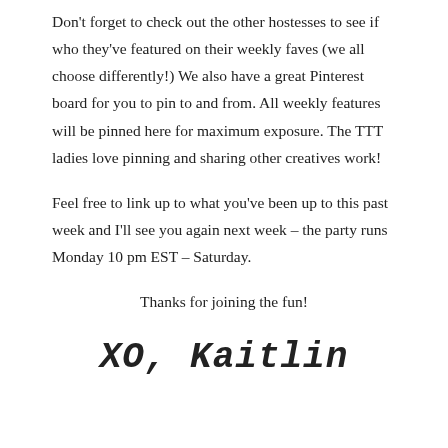Don't forget to check out the other hostesses to see if who they've featured on their weekly faves (we all choose differently!) We also have a great Pinterest board for you to pin to and from. All weekly features will be pinned here for maximum exposure. The TTT ladies love pinning and sharing other creatives work!
Feel free to link up to what you've been up to this past week and I'll see you again next week – the party runs Monday 10 pm EST – Saturday.
Thanks for joining the fun!
XO, Kaitlin